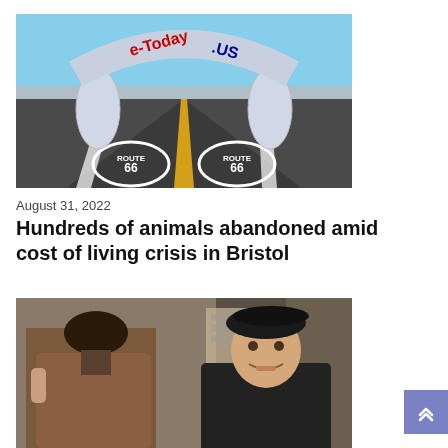[Figure (photo): Route 66 road with inflatable arch reading 'e-Today.US' in red and blue letters, desert highway stretching into the distance, Route 66 logos painted on the road surface, clear blue sky]
August 31, 2022
Hundreds of animals abandoned amid cost of living crisis in Bristol
[Figure (photo): Two men in an indoor setting, one facing away wearing a brown jacket with dark hair, the other facing the camera wearing a black beret and dark jacket, smiling slightly]